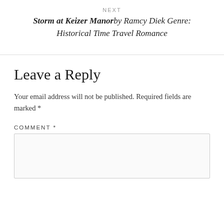NEXT
Storm at Keizer Manor by Ramcy Diek Genre: Historical Time Travel Romance
Leave a Reply
Your email address will not be published. Required fields are marked *
COMMENT *